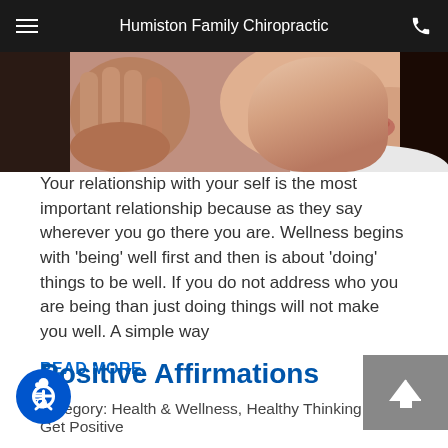Humiston Family Chiropractic
[Figure (photo): Close-up photo of a hand and a person's lower face/mouth area]
Your relationship with your self is the most important relationship because as they say wherever you go there you are. Wellness begins with 'being' well first and then is about 'doing' things to be well. If you do not address who you are being than just doing things will not make you well. A simple way
READ MORE
Positive Affirmations
Category: Health & Wellness, Healthy Thinking, Get Positive